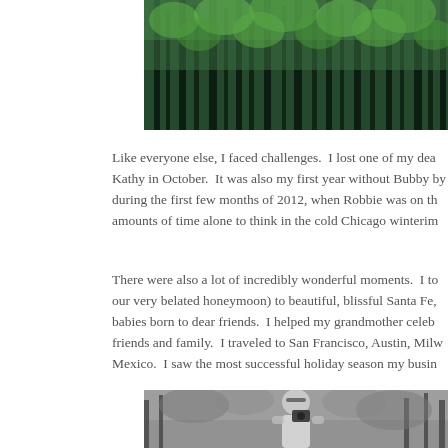[Figure (photo): A forest scene with bare dark tree trunks and bright green spring foliage, photographed from below looking upward, with a dark teal/green color tone.]
Like everyone else, I faced challenges.  I lost one of my dea Kathy in October.  It was also my first year without Bubby by during the first few months of 2012, when Robbie was on th amounts of time alone to think in the cold Chicago winterim
There were also a lot of incredibly wonderful moments.  I to our very belated honeymoon) to beautiful, blissful Santa Fe, babies born to dear friends.  I helped my grandmother celeb friends and family.  I traveled to San Francisco, Austin, Milw Mexico.  I saw the most successful holiday season my busin
[Figure (photo): A black and white photograph of a person holding a camera up to their face, surrounded by dense foliage and trees.]